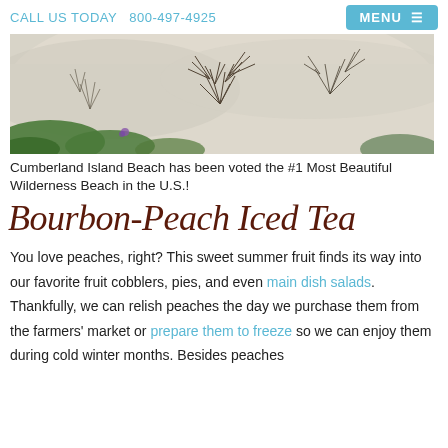CALL US TODAY  800-497-4925
[Figure (photo): Aerial/close-up view of white sand beach dunes with sparse dark beach grass/shrubs and green coastal plants in the foreground — Cumberland Island Beach]
Cumberland Island Beach has been voted the #1 Most Beautiful Wilderness Beach in the U.S.!
Bourbon-Peach Iced Tea
You love peaches, right? This sweet summer fruit finds its way into our favorite fruit cobblers, pies, and even main dish salads. Thankfully, we can relish peaches the day we purchase them from the farmers' market or prepare them to freeze so we can enjoy them during cold winter months. Besides peaches